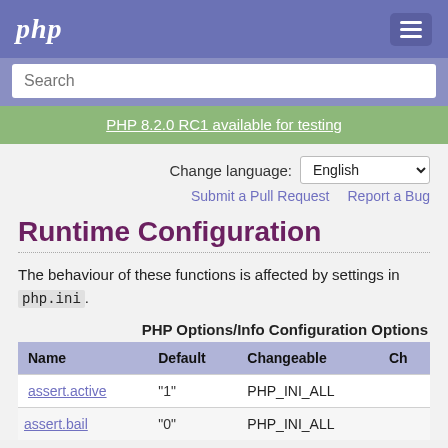php
Search
PHP 8.2.0 RC1 available for testing
Change language: English
Submit a Pull Request   Report a Bug
Runtime Configuration
The behaviour of these functions is affected by settings in php.ini.
PHP Options/Info Configuration Options
| Name | Default | Changeable | Ch |
| --- | --- | --- | --- |
| assert.active | "1" | PHP_INI_ALL |  |
| assert.bail | "0" | PHP_INI_ALL |  |